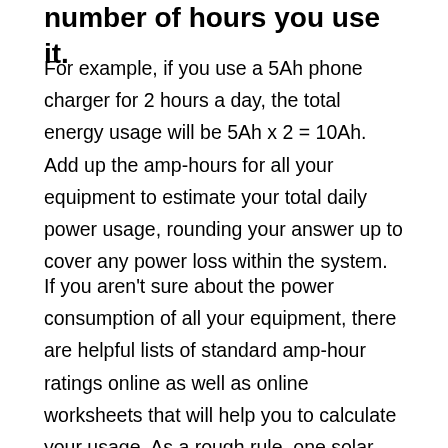number of hours you use it.
For example, if you use a 5Ah phone charger for 2 hours a day, the total energy usage will be 5Ah x 2 = 10Ah. Add up the amp-hours for all your equipment to estimate your total daily power usage, rounding your answer up to cover any power loss within the system.
If you aren't sure about the power consumption of all your equipment, there are helpful lists of standard amp-hour ratings online as well as online worksheets that will help you to calculate your usage. As a rough rule, one solar panel and one or two batteries will enable you to live a frugal lifestyle, running only the basics. If you want to use a TV, computer, and